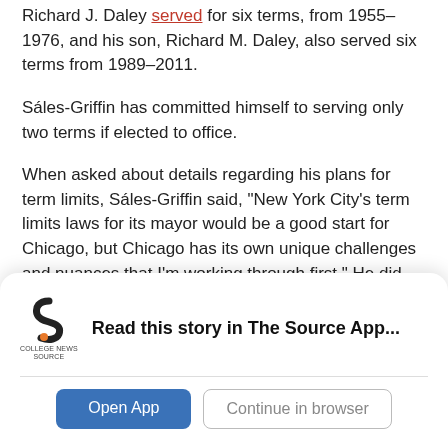Richard J. Daley served for six terms, from 1955–1976, and his son, Richard M. Daley, also served six terms from 1989–2011.
Sáles-Griffin has committed himself to serving only two terms if elected to office.
When asked about details regarding his plans for term limits, Sáles-Griffin said, "New York City's term limits laws for its mayor would be a good start for Chicago, but Chicago has its own unique challenges and nuances that I'm working through first." He did not provide further details.
Campaign finance reform is another policy focus for
[Figure (logo): College News Source logo — stylized 'S' shape in black and orange with text 'COLLEGE NEWS SOURCE' below]
Read this story in The Source App...
Open App
Continue in browser